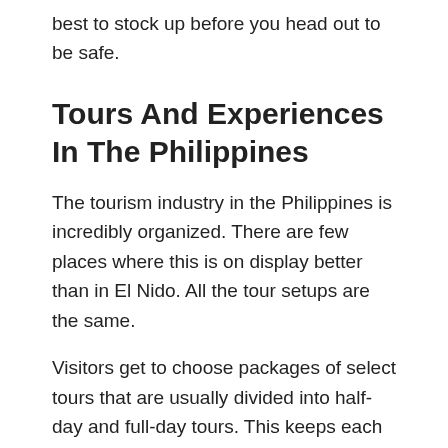best to stock up before you head out to be safe.
Tours And Experiences In The Philippines
The tourism industry in the Philippines is incredibly organized. There are few places where this is on display better than in El Nido. All the tour setups are the same.
Visitors get to choose packages of select tours that are usually divided into half-day and full-day tours. This keeps each of the individual experiences from getting overly crowded with a rush of tourists arriving at the same time.